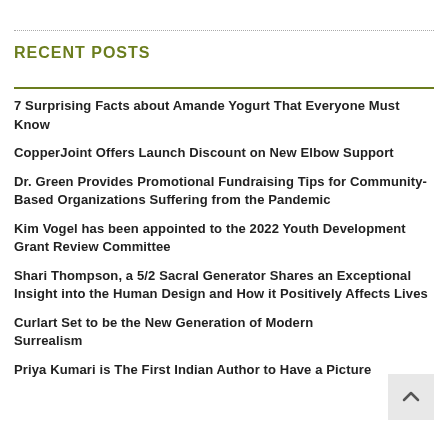RECENT POSTS
7 Surprising Facts about Amande Yogurt That Everyone Must Know
CopperJoint Offers Launch Discount on New Elbow Support
Dr. Green Provides Promotional Fundraising Tips for Community-Based Organizations Suffering from the Pandemic
Kim Vogel has been appointed to the 2022 Youth Development Grant Review Committee
Shari Thompson, a 5/2 Sacral Generator Shares an Exceptional Insight into the Human Design and How it Positively Affects Lives
Curlart Set to be the New Generation of Modern Surrealism
Priya Kumari is The First Indian Author to Have a Picture